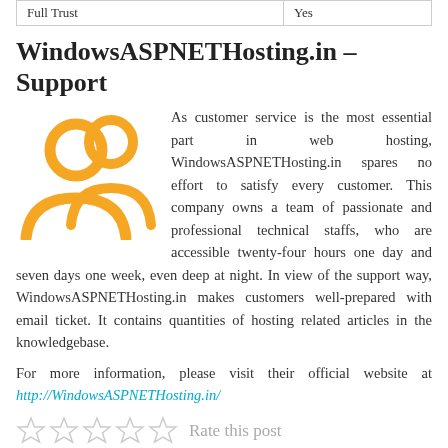| Full Trust | Yes |
| --- | --- |
WindowsASPNETHosting.in – Support
[Figure (illustration): Orange icon of two people (customer support group icon)]
As customer service is the most essential part in web hosting, WindowsASPNETHosting.in spares no effort to satisfy every customer. This company owns a team of passionate and professional technical staffs, who are accessible twenty-four hours one day and seven days one week, even deep at night. In view of the support way, WindowsASPNETHosting.in makes customers well-prepared with email ticket. It contains quantities of hosting related articles in the knowledgebase.
For more information, please visit their official website at http://WindowsASPNETHosting.in/
[Figure (other): Five empty star rating icons with text 'Rate this post']